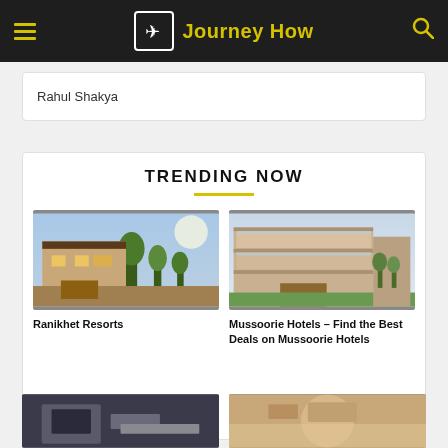Journey How
Rahul Shakya
TRENDING NOW
[Figure (photo): Ranikhet Resorts - a resort building amid trees and greenery with evening lighting]
Ranikhet Resorts
[Figure (photo): Mussoorie Hotels - a modern multi-storey hotel building with balconies, surrounded by greenery]
Mussoorie Hotels – Find the Best Deals on Mussoorie Hotels
[Figure (photo): Partially visible bottom-left card image]
[Figure (photo): Partially visible bottom-right card image]